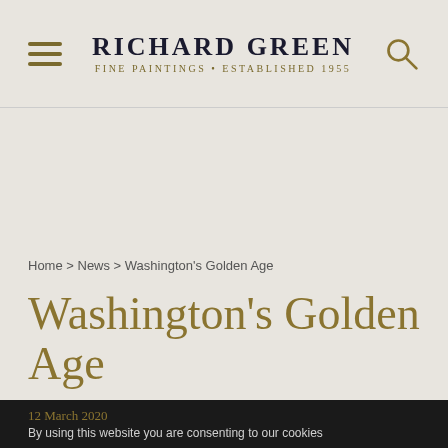RICHARD GREEN
FINE PAINTINGS • ESTABLISHED 1955
Home > News > Washington's Golden Age
Washington's Golden Age
12 March 2020
By using this website you are consenting to our cookies